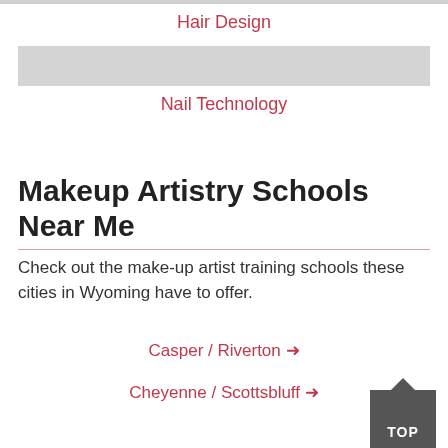Hair Design
Nail Technology
Makeup Artistry Schools Near Me
Check out the make-up artist training schools these cities in Wyoming have to offer.
Casper / Riverton →
Cheyenne / Scottsbluff →